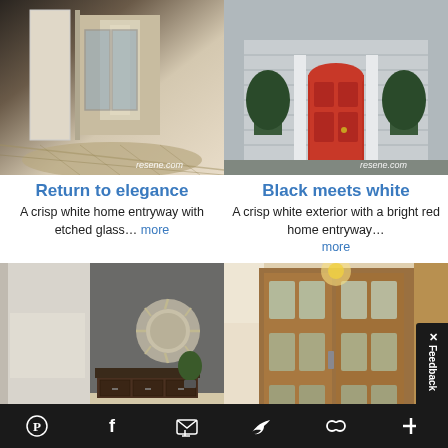[Figure (photo): Crisp white home entryway with etched glass and wooden floor hallway. resene.com watermark.]
Return to elegance
A crisp white home entryway with etched glass… more
[Figure (photo): White exterior home with bright red front door flanked by potted topiary trees. resene.com watermark.]
Black meets white
A crisp white exterior with a bright red home entryway… more
[Figure (photo): Interior entryway with grey accent wall, sunburst mirror, dark wood console table and plant. resene.com watermark.]
Admired by many
[Figure (photo): Homely wooden front door with glass panels and warm interior lighting. resene.com watermark.]
Homely finish
Pinterest  Facebook  Email  Twitter  Link  Plus